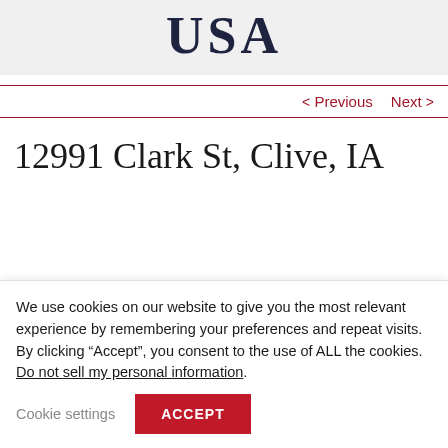USA
< Previous   Next >
12991 Clark St, Clive, IA
We use cookies on our website to give you the most relevant experience by remembering your preferences and repeat visits. By clicking “Accept”, you consent to the use of ALL the cookies. Do not sell my personal information.
Cookie settings   ACCEPT